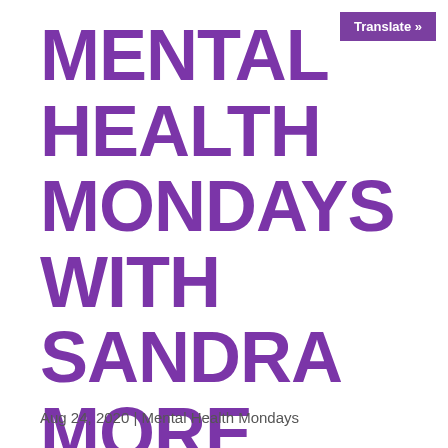Translate »
MENTAL HEALTH MONDAYS WITH SANDRA MORE
Aug 24, 2020 | Mental Health Mondays